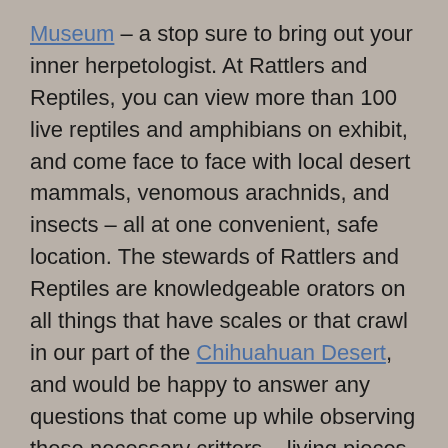Museum – a stop sure to bring out your inner herpetologist. At Rattlers and Reptiles, you can view more than 100 live reptiles and amphibians on exhibit, and come face to face with local desert mammals, venomous arachnids, and insects – all at one convenient, safe location. The stewards of Rattlers and Reptiles are knowledgeable orators on all things that have scales or that crawl in our part of the Chihuahuan Desert, and would be happy to answer any questions that come up while observing these necessary critters – living pieces of our environment that keep our desert ecosystem healthy.
Rattlers and Reptiles is located across the street from Fort Davis National Historic Site at 1400 North State Street and is open seven days a week from 10a – 6p, or by appointment for those wanting a private viewing or